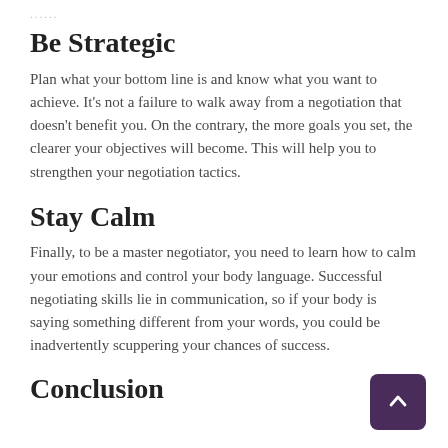......
Be Strategic
Plan what your bottom line is and know what you want to achieve. It's not a failure to walk away from a negotiation that doesn't benefit you. On the contrary, the more goals you set, the clearer your objectives will become. This will help you to strengthen your negotiation tactics.
Stay Calm
Finally, to be a master negotiator, you need to learn how to calm your emotions and control your body language. Successful negotiating skills lie in communication, so if your body is saying something different from your words, you could be inadvertently scuppering your chances of success.
Conclusion